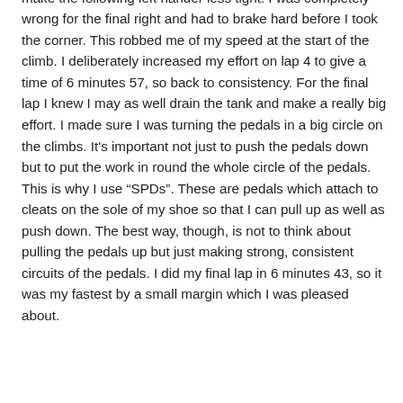the track when I really wanted to be further to the right to make the following left hander less tight. I was completely wrong for the final right and had to brake hard before I took the corner. This robbed me of my speed at the start of the climb. I deliberately increased my effort on lap 4 to give a time of 6 minutes 57, so back to consistency. For the final lap I knew I may as well drain the tank and make a really big effort. I made sure I was turning the pedals in a big circle on the climbs. It's important not just to push the pedals down but to put the work in round the whole circle of the pedals. This is why I use “SPDs”. These are pedals which attach to cleats on the sole of my shoe so that I can pull up as well as push down. The best way, though, is not to think about pulling the pedals up but just making strong, consistent circuits of the pedals. I did my final lap in 6 minutes 43, so it was my fastest by a small margin which I was pleased about.